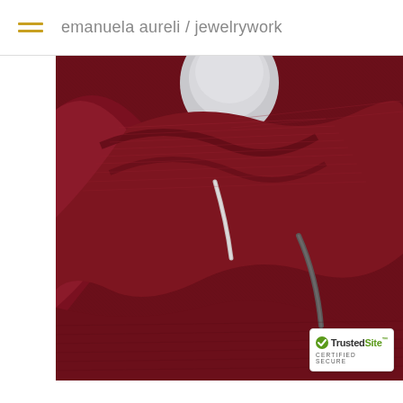emanuela aureli / jewelrywork
[Figure (photo): Close-up photograph of a dark burgundy/maroon ribbed knit scarf draped on a mannequin, with two silver/metal curved pin brooches holding the fabric together. White background visible near the neck area.]
[Figure (logo): TrustedSite CERTIFIED SECURE badge in bottom-right corner]